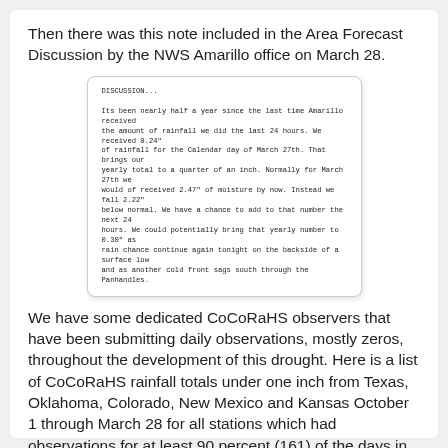Then there was this note included in the Area Forecast Discussion by the NWS Amarillo office on March 28.
[Figure (screenshot): Monospace preformatted text box containing NWS Area Forecast Discussion excerpt about rainfall in Amarillo, March 27th.]
We have some dedicated CoCoRaHS observers that have been submitting daily observations, mostly zeros, throughout the development of this drought. Here is a list of CoCoRaHS rainfall totals under one inch from Texas, Oklahoma, Colorado, New Mexico and Kansas October 1 through March 28 for all stations which had observations for at least 90 percent (161) of the days in this period.
Station